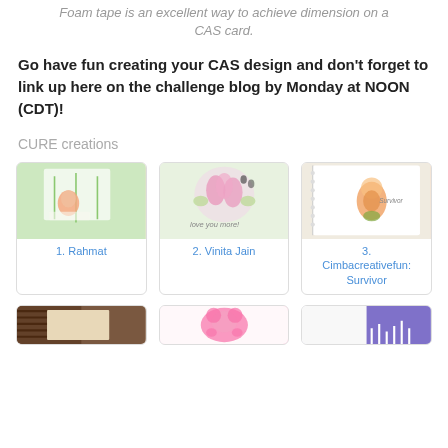Foam tape is an excellent way to achieve dimension on a CAS card.
Go have fun creating your CAS design and don't forget to link up here on the challenge blog by Monday at NOON (CDT)!
CURE creations
[Figure (photo): Gallery card 1: Card with green stamped background and orange flower, labeled '1. Rahmat']
[Figure (photo): Gallery card 2: Card with pink floral illustration and 'love you more' text, labeled '2. Vinita Jain']
[Figure (photo): Gallery card 3: Spiral notebook page with orange flower illustration, labeled '3. Cimbacreativefun: Survivor']
[Figure (photo): Gallery card row 2, card 1: dark textured background with cream panel]
[Figure (photo): Gallery card row 2, card 2: bright pink bear shape on white]
[Figure (photo): Gallery card row 2, card 3: white card with purple night scene]